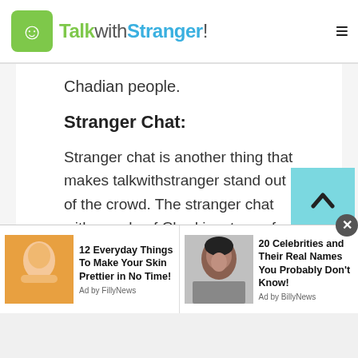TalkwithStranger!
Chadian people.
Stranger Chat:
Stranger chat is another thing that makes talkwithstranger stand out of the crowd. The stranger chat with people of Chad is a type of a chatroom where you get to chat with a stranger who you have never met in your life. You can also use the facility of video call, voice call, or multimedia sharing. Moreover, the stranger chat enables the people to talk with people of different nationalities
[Figure (screenshot): Advertisement bar with two sponsored articles: '12 Everyday Things To Make Your Skin Prettier in No Time!' by FillyNews, and '20 Celebrities and Their Real Names You Probably Don't Know!' by BillyNews]